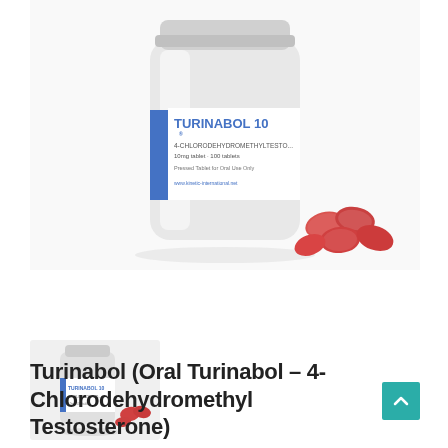[Figure (photo): Product photo of Turinabol 10 bottle (white plastic pill bottle with blue and white label) alongside several small red/orange tablets scattered next to it]
[Figure (photo): Small thumbnail image of the same Turinabol 10 bottle with red tablets]
Turinabol (Oral Turinabol – 4-Chlorodehydromethyl Testosterone)